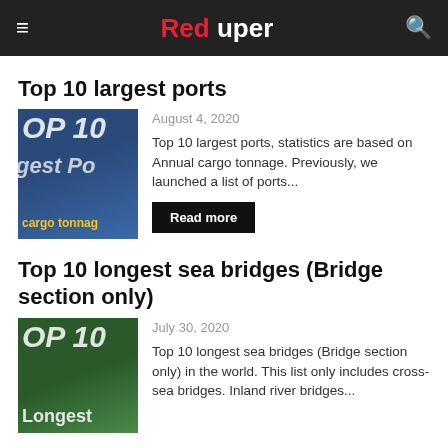Red uper
Top 10 largest ports
[Figure (photo): Thumbnail image with text overlay: OP 10, gest Po, cargo tonnag]
August 4, 2020
Top 10 largest ports, statistics are based on Annual cargo tonnage. Previously, we launched a list of ports...
Read more
Top 10 longest sea bridges (Bridge section only)
[Figure (photo): Thumbnail image with text overlay: OP 10, Longest]
July 30, 2020
Top 10 longest sea bridges (Bridge section only) in the world. This list only includes cross-sea bridges. Inland river bridges...